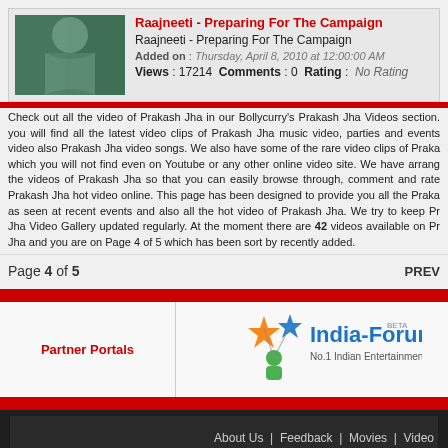Raajneeti - Preparing For The Campaign
Raajneeti - Preparing For The Campaign
Added on : Thursday, April 8, 2010 at 12:00:00 AM
Views : 17214  Comments : 0  Rating :  No Rating
Check out all the video of Prakash Jha in our Bollycurry's Prakash Jha Videos section. you will find all the latest video clips of Prakash Jha music video, parties and events video also Prakash Jha video songs. We also have some of the rare video clips of Prakash which you will not find even on Youtube or any other online video site. We have arranged the videos of Prakash Jha so that you can easily browse through, comment and rate the Prakash Jha hot video online. This page has been designed to provide you all the Prakash as seen at recent events and also all the hot video of Prakash Jha. We try to keep Pr Jha Video Gallery updated regularly. At the moment there are 42 videos available on Pr Jha and you are on Page 4 of 5 which has been sort by recently added.
Page 4 of 5   PREV
Partner Portals
[Figure (logo): India-Forums logo - No.1 Indian Entertainment Portal, BETA]
About Us | Feedback | Movies | Video